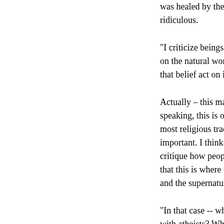was healed by the holy spirit" w ridiculous.
“I criticize beings or forces that on the natural world. Regardless that belief act on it in the public
Actually – this makes a lot of se speaking, this is only one part o most religious traditions, and pe important. I think there are plen critique how people talk about t that this is where we differ. I thi and the supernatural aren’t ident
"In that case -- why on earth are with atheists? Why are you was relativism against reality? Why
I do believe in the placebo effec